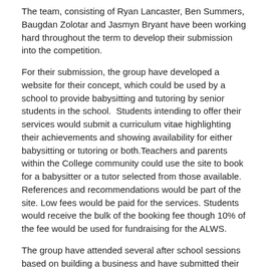The team, consisting of Ryan Lancaster, Ben Summers, Baugdan Zolotar and Jasmyn Bryant have been working hard throughout the term to develop their submission into the competition.
For their submission, the group have developed a website for their concept, which could be used by a school to provide babysitting and tutoring by senior students in the school.  Students intending to offer their services would submit a curriculum vitae highlighting their achievements and showing availability for either babysitting or tutoring or both.Teachers and parents within the College community could use the site to book for a babysitter or a tutor selected from those available. References and recommendations would be part of the site. Low fees would be paid for the services. Students would receive the bulk of the booking fee though 10% of the fee would be used for fundraising for the ALWS.
The group have attended several after school sessions based on building a business and have submitted their early plans, a revised plan and also a video.
The finals are to be held next Wednesday evening, 20th June at the Innovation Centre, Sippy Downs where the teams put forward their three minute pitch.
Go team PLCI